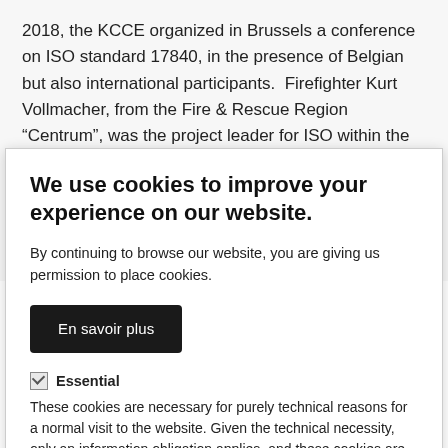2018, the KCCE organized in Brussels a conference on ISO standard 17840, in the presence of Belgian but also international participants.   Firefighter Kurt Vollmacher, from the Fire & Rescue Region “Centrum”, was the project leader for ISO within the Commission.

More information regarding this ISO standard is to be found on : https://www.ctif.org/index.php/commissions-and-
We use cookies to improve your experience on our website.
By continuing to browse our website, you are giving us permission to place cookies.
En savoir plus
Essential
These cookies are necessary for purely technical reasons for a normal visit to the website. Given the technical necessity, only an information obligation applies, and these cookies are placed as soon as you access the website.